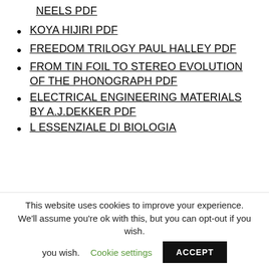NEELS PDF
KOYA HIJIRI PDF
FREEDOM TRILOGY PAUL HALLEY PDF
FROM TIN FOIL TO STEREO EVOLUTION OF THE PHONOGRAPH PDF
ELECTRICAL ENGINEERING MATERIALS BY A.J.DEKKER PDF
L ESSENZIALE DI BIOLOGIA
This website uses cookies to improve your experience. We'll assume you're ok with this, but you can opt-out if you wish.
Cookie settings
ACCEPT